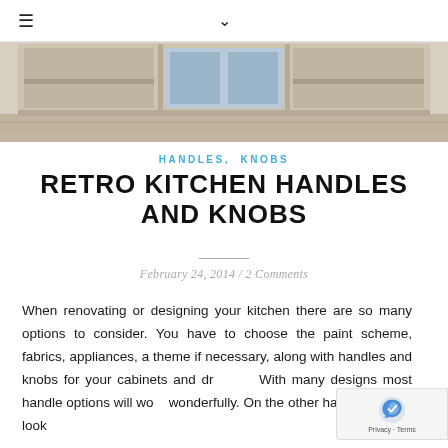≡  ∨
[Figure (photo): Retro kitchen cabinet shelf with light blue drawer panels and whitewashed wood frame]
HANDLES, KNOBS
RETRO KITCHEN HANDLES AND KNOBS
February 24, 2014 / 2 Comments
When renovating or designing your kitchen there are so many options to consider. You have to choose the paint scheme, fabrics, appliances, a theme if necessary, along with handles and knobs for your cabinets and drawers. With many designs most handle options will work wonderfully. On the other hand if you are looking